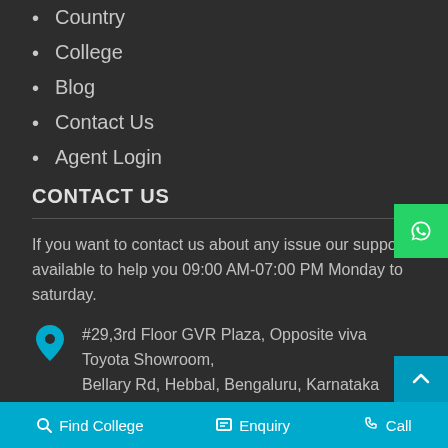Country
College
Blog
Contact Us
Agent Login
CONTACT US
If you want to contact us about any issue our support available to help you 09:00 AM-07:00 PM Monday to saturday.
#29,3rd Floor GVR Plaza, Opposite viva Toyota Showroom, Bellary Rd, Hebbal, Bengaluru, Karnataka 560024
Call: +91-8088888710
Email: admissions@careerinitiative.in
Find College   Enquiry   Call